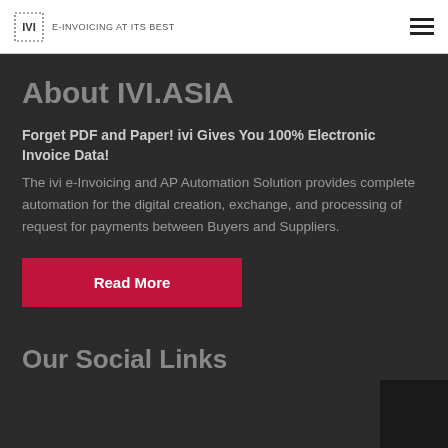IVI e-INVOICING AT ITS BEST
About IVI.ASIA
Forget PDF and Paper! ivi Gives You 100% Electronic Invoice Data! The ivi e-Invoicing and AP Automation Solution provides complete automation for the digital creation, exchange, and processing of request for payments between Buyers and Suppliers.
Read More
Our Social Links